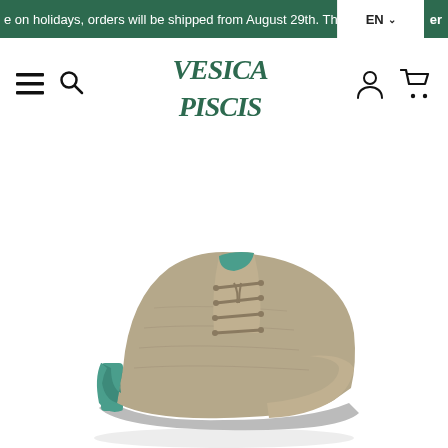We are on holidays, orders will be shipped from August 29th. Thank you fo... EN
[Figure (logo): Vesica Piscis brand logo in green italic serif font]
[Figure (photo): A tan/khaki canvas chukka boot with teal accent heel, lace-up closure, shown at an angle against white background]